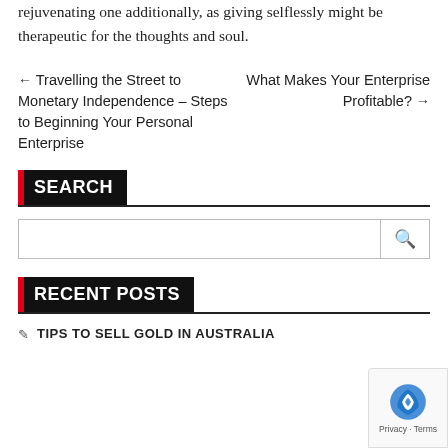rejuvenating one additionally, as giving selflessly might be therapeutic for the thoughts and soul.
← Travelling the Street to Monetary Independence – Steps to Beginning Your Personal Enterprise
What Makes Your Enterprise Profitable? →
SEARCH
RECENT POSTS
TIPS TO SELL GOLD IN AUSTRALIA